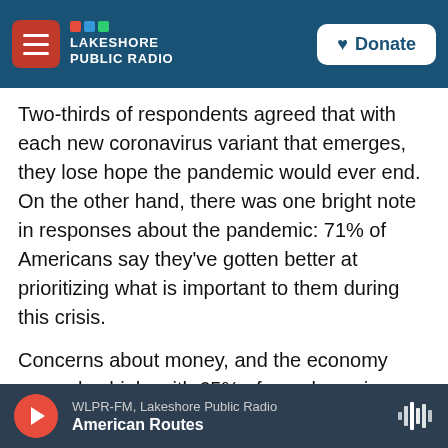NPR - Lakeshore Public Radio | Donate
Two-thirds of respondents agreed that with each new coronavirus variant that emerges, they lose hope the pandemic would ever end. On the other hand, there was one bright note in responses about the pandemic: 71% of Americans say they've gotten better at prioritizing what is important to them during this crisis.
Concerns about money, and the economy were also high, with 65% of people saying they were stressed about these issues. The concerns were more likely to plague Latinos and Blacks compared to Whites and Asians.
WLPR-FM, Lakeshore Public Radio — American Routes